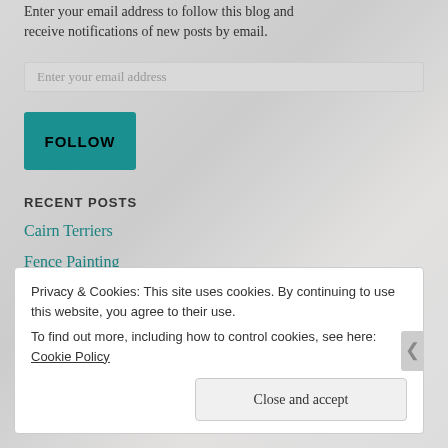Enter your email address to follow this blog and receive notifications of new posts by email.
Enter your email address
FOLLOW
RECENT POSTS
Cairn Terriers
Fence Painting
Texas Springtime
Product Photo Props
Privacy & Cookies: This site uses cookies. By continuing to use this website, you agree to their use.
To find out more, including how to control cookies, see here: Cookie Policy
Close and accept